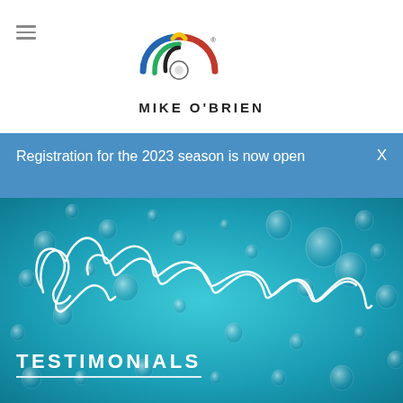[Figure (logo): Mike O'Brien logo with colorful circular arcs (blue, red, green, yellow, black) above the text MIKE O'BRIEN]
Registration for the 2023 season is now open
[Figure (illustration): Water droplets on a teal/blue surface background with a cursive signature reading Mike O'Brien overlaid in white]
TESTIMONIALS